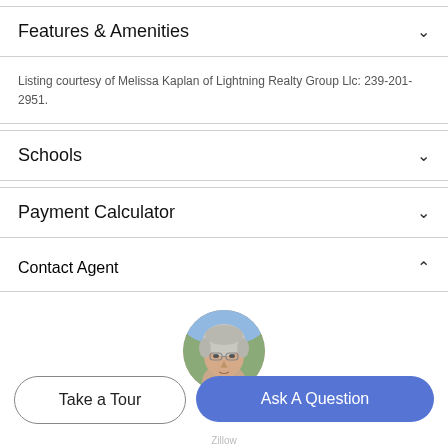Features & Amenities
Listing courtesy of Melissa Kaplan of Lightning Realty Group Llc: 239-201-2951.
Schools
Payment Calculator
Contact Agent
[Figure (photo): Circular profile photo of a middle-aged man with gray hair and glasses, outdoors background]
Take a Tour
Ask A Question